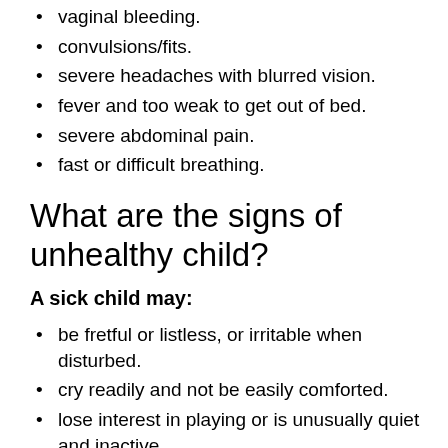vaginal bleeding.
convulsions/fits.
severe headaches with blurred vision.
fever and too weak to get out of bed.
severe abdominal pain.
fast or difficult breathing.
What are the signs of unhealthy child?
A sick child may:
be fretful or listless, or irritable when disturbed.
cry readily and not be easily comforted.
lose interest in playing or is unusually quiet and inactive.